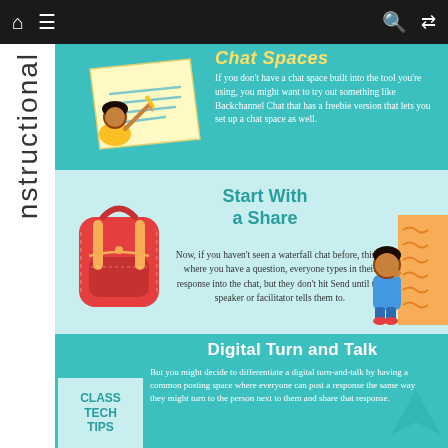Navigation bar with home, menu, search, and shuffle icons
nstructional (vertical sidebar text)
Chat Spaces
If you don't have a chat space built into the tool you're using, you might want to try out something like Backchannel Chat that has a freebie version that lets you set up a chat space as well.
Start With a Share
Now, if you haven't seen a waterfall chat before, this is where you have a question, everyone types in their response into the chat, but they don't hit Send until the speaker or facilitator tells them to.
Digital Turn and Talk
But you might decide to differentiate a digital turn-and-talk by having a common posting space where everyone can post a response the same way they might turn to the person next to them and share that response.
[Figure (illustration): Child writing on large paper/document]
[Figure (illustration): Red and yellow backpack]
[Figure (illustration): Child leaning against yellow wall]
[Figure (logo): CLASS TECH TIPS badge in light blue with teal text]